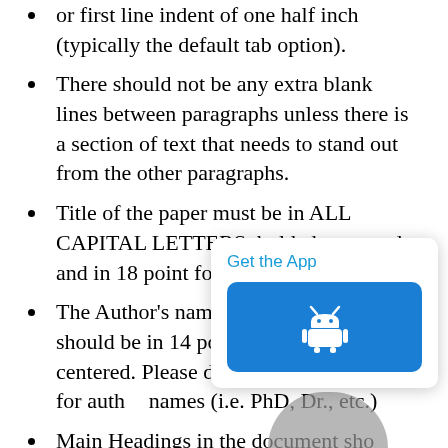or first line indent of one half inch (typically the default tab option).
There should not be any extra blank lines between paragraphs unless there is a section of text that needs to stand out from the other paragraphs.
Title of the paper must be in ALL CAPITAL LETTERS, bolded, centered and in 18 point font.
The Author’s names and affiliations should be in 14 point font, bolded and centered. Please do not use honorifics for author names (i.e. PhD, Dr., etc.)
Main Headings in the document should be in ALL CAPITAL LETTERS, bolded and centered in the default 12 point font.